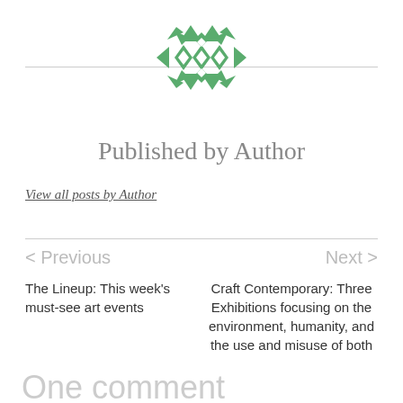[Figure (logo): Green geometric quilt-pattern circular logo made of triangles and diamond shapes]
Published by Author
View all posts by Author
< Previous
Next >
The Lineup: This week's must-see art events
Craft Contemporary: Three Exhibitions focusing on the environment, humanity, and the use and misuse of both
One comment